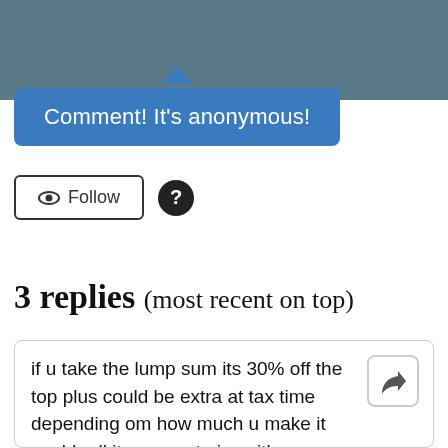[Figure (screenshot): Gray header bar at the top of the page]
Comment! It's anonymous!
Follow
3 replies (most recent on top)
if u take the lump sum its 30% off the top plus could be extra at tax time depending om how much u make it could roll it on over to ira with your